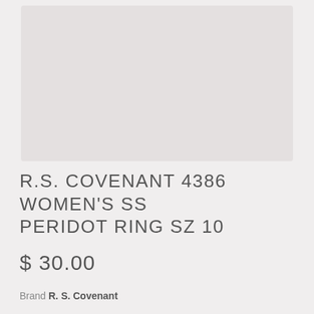[Figure (photo): Product image placeholder area with light pinkish-grey background, no visible product image]
R.S. COVENANT 4386 WOMEN'S SS PERIDOT RING SZ 10
$ 30.00
Brand R. S. Covenant